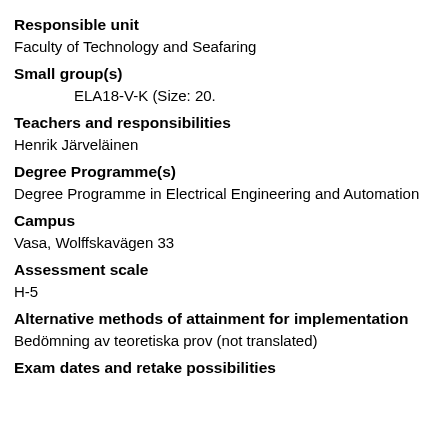Responsible unit
Faculty of Technology and Seafaring
Small group(s)
ELA18-V-K (Size: 20.
Teachers and responsibilities
Henrik Järveläinen
Degree Programme(s)
Degree Programme in Electrical Engineering and Automation
Campus
Vasa, Wolffskavägen 33
Assessment scale
H-5
Alternative methods of attainment for implementation
Bedömning av teoretiska prov (not translated)
Exam dates and retake possibilities